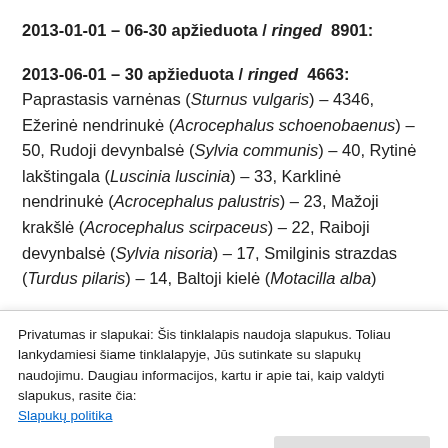2013-01-01 – 06-30 apžieduota / ringed 8901:
2013-06-01 – 30 apžieduota / ringed 4663: Paprastasis varnėnas (Sturnus vulgaris) – 4346, Ežerinė nendrinukė (Acrocephalus schoenobaenus) – 50, Rudoji devynbalsė (Sylvia communis) – 40, Rytinė lakštingala (Luscinia luscinia) – 33, Karklinė nendrinukė (Acrocephalus palustris) – 23, Mažoji krakšlė (Acrocephalus scirpaceus) – 22, Raiboji devynbalsė (Sylvia nisoria) – 17, Smilginis strazdas (Turdus pilaris) – 14, Baltoji kielė (Motacilla alba) –
Privatumas ir slapukai: Šis tinklalapis naudoja slapukus. Toliau lankydamiesi šiame tinklalapyje, Jūs sutinkate su slapukų naudojimu. Daugiau informacijos, kartu ir apie tai, kaip valdyti slapukus, rasite čia: Slapukų politika
Close and accept
Raudongalvė sniegena (Carpodacus erythrinus) – 5,